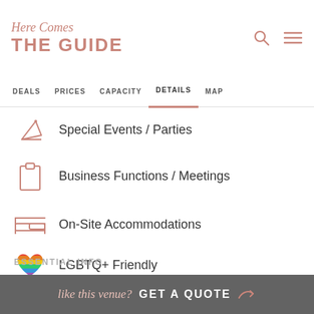Here Comes THE GUIDE
DEALS  PRICES  CAPACITY  DETAILS  MAP
Special Events / Parties
Business Functions / Meetings
On-Site Accommodations
LGBTQ+ Friendly
ESSENTIAL INFO
like this venue? GET A QUOTE